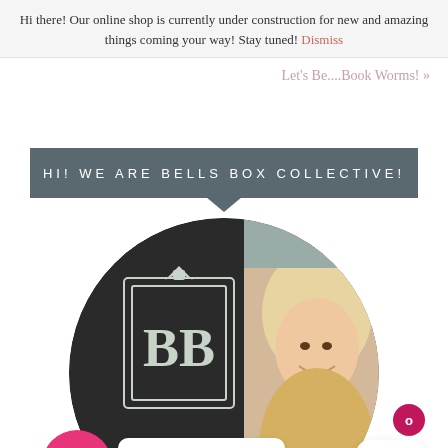Hi there! Our online shop is currently under construction for new and amazing things coming your way! Stay tuned! Dismiss
Let's Be....Book Worms! »
HI! WE ARE BELLS BOX COLLECTIVE!
[Figure (photo): Circular photo showing a smiling blonde woman and a Bells Box Collective logo sign]
How can we help!